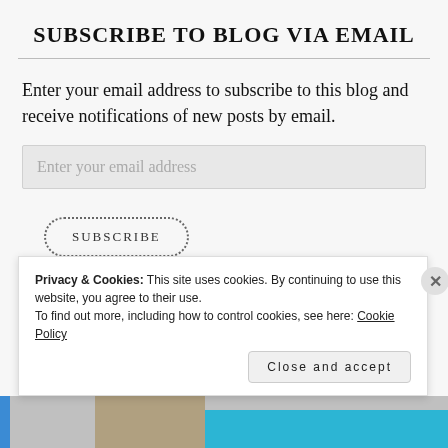SUBSCRIBE TO BLOG VIA EMAIL
Enter your email address to subscribe to this blog and receive notifications of new posts by email.
Enter your email address
SUBSCRIBE
Join 129 other followers
Privacy & Cookies: This site uses cookies. By continuing to use this website, you agree to their use.
To find out more, including how to control cookies, see here: Cookie Policy
Close and accept